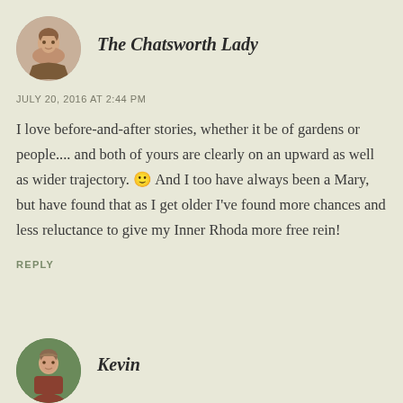[Figure (illustration): Circular avatar of a woman in historical dress, portrait style painting]
The Chatsworth Lady
JULY 20, 2016 AT 2:44 PM
I love before-and-after stories, whether it be of gardens or people.... and both of yours are clearly on an upward as well as wider trajectory. 🙂 And I too have always been a Mary, but have found that as I get older I've found more chances and less reluctance to give my Inner Rhoda more free rein!
REPLY
[Figure (photo): Circular avatar of a man named Kevin, partial head and shoulders visible]
Kevin